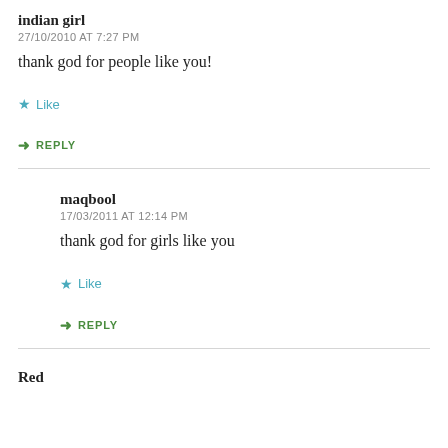indian girl
27/10/2010 AT 7:27 PM
thank god for people like you!
★ Like
↳ REPLY
maqbool
17/03/2011 AT 12:14 PM
thank god for girls like you
★ Like
↳ REPLY
Red